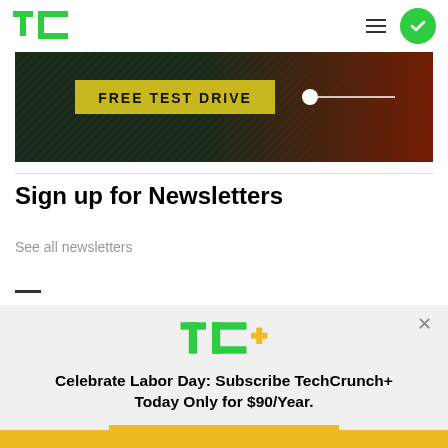TechCrunch
[Figure (photo): Ad banner with dark gradient background, yellow 'FREE TEST DRIVE' label on left, and a slider/toggle element on the right side over a dark red background]
Sign up for Newsletters
See all newsletters
[Figure (infographic): TechCrunch+ promotional modal with TC+ logo, text 'Celebrate Labor Day: Subscribe TechCrunch+ Today Only for $90/Year.' and a yellow 'GET OFFER NOW' button]